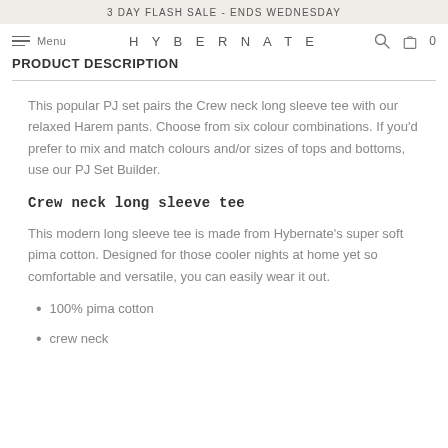3 DAY FLASH SALE - ENDS WEDNESDAY
Menu  HYBERNATE  PRODUCT DESCRIPTION  [search] [cart] 0
This popular PJ set pairs the Crew neck long sleeve tee with our relaxed Harem pants. Choose from six colour combinations. If you'd prefer to mix and match colours and/or sizes of tops and bottoms, use our PJ Set Builder.
Crew neck long sleeve tee
This modern long sleeve tee is made from Hybernate's super soft pima cotton. Designed for those cooler nights at home yet so comfortable and versatile, you can easily wear it out.
100% pima cotton
crew neck